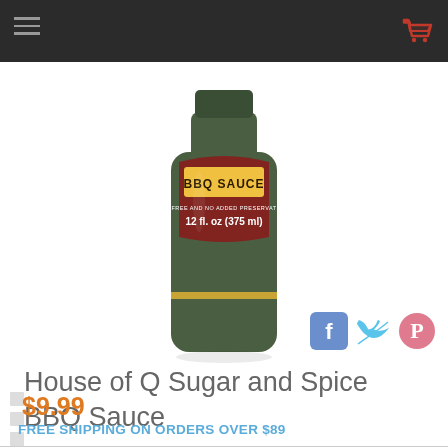[Figure (photo): BBQ Sauce bottle - House of Q Sugar and Spice BBQ Sauce, 12 fl. oz (375 ml), BPE free and no added preservatives, label shows BBQ SAUCE text with ribbon design on dark green bottle]
House of Q Sugar and Spice BBQ Sauce
$9.99
FREE SHIPPING ON ORDERS OVER $89